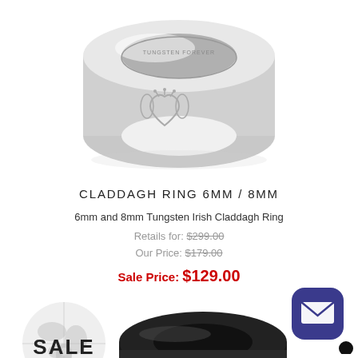[Figure (photo): Silver tungsten Claddagh ring with engraved Claddagh symbol on top and 'Tungsten Forever' inscription inside the band]
CLADDAGH RING 6MM / 8MM
6mm and 8mm Tungsten Irish Claddagh Ring
Retails for: $299.00
Our Price: $179.00
Sale Price: $129.00
[Figure (logo): SALE badge with globe watermark graphic]
[Figure (photo): Black tungsten ring with engraved mustache design in silver/grey on the band face]